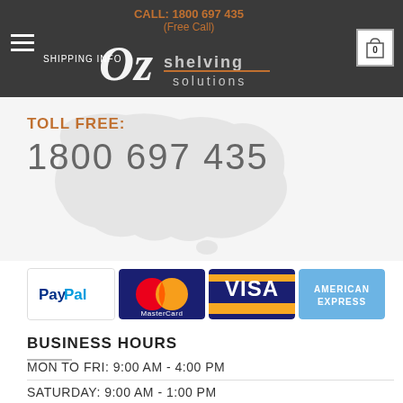CALL: 1800 697 435 (Free Call) — OZ Shelving Solutions — SHIPPING INFO — Cart: 0
[Figure (illustration): Australia map silhouette in light gray as background image behind toll free number]
TOLL FREE:
1800 697 435
[Figure (illustration): Payment method icons: PayPal, MasterCard, Visa, American Express]
BUSINESS HOURS
MON TO FRI: 9:00 AM - 4:00 PM
SATURDAY: 9:00 AM - 1:00 PM